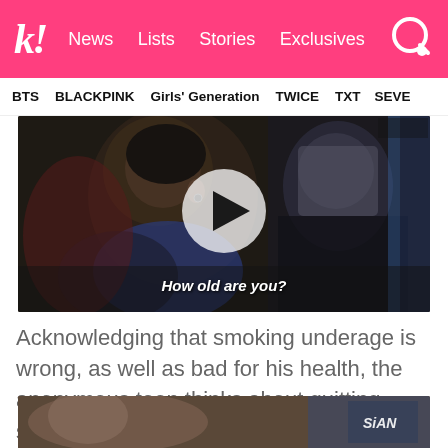k! News Lists Stories Exclusives
BTS BLACKPINK Girls' Generation TWICE TXT SEVE
[Figure (photo): Video screenshot of two blurred/anonymized teens sitting, with play button overlay and subtitle 'How old are you?']
Acknowledging that smoking underage is wrong, as well as bad for his health, the anonymous teen thinks about quitting smoking.
[Figure (photo): Bottom strip of another video/image with text overlay including partial text 'SiAN']